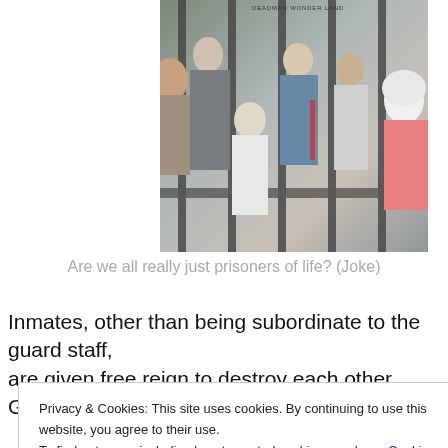[Figure (illustration): Manga/anime style illustration showing several characters behind vertical prison bars. Text watermark in top-right reads 'DEADMAN WONDER LAND'. Characters include figures in white uniforms, a character with silver/white hair, and others in various poses.]
Are we all really just prisoners of life? (Joke)
Inmates, other than being subordinate to the guard staff, are given free reign to destroy each other. Ganta is
Privacy & Cookies: This site uses cookies. By continuing to use this website, you agree to their use.
To find out more, including how to control cookies, see here: Cookie Policy